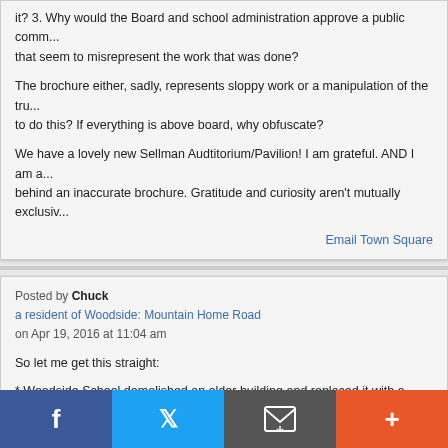it? 3. Why would the Board and school administration approve a public comm... that seem to misrepresent the work that was done?
The brochure either, sadly, represents sloppy work or a manipulation of the tru... to do this? If everything is above board, why obfuscate?
We have a lovely new Sellman Audtitorium/Pavilion! I am grateful. AND I am a... behind an inaccurate brochure. Gratitude and curiosity aren't mutually exclusiv...
Email Town Square
Posted by Chuck
a resident of Woodside: Mountain Home Road
on Apr 19, 2016 at 11:04 am
So let me get this straight:
* Woodside School demolished an older building and replaced it with a moder... that will benefit hundreds if not thousands of our kids
* The construction was approved and funded by a public bond from local resid...